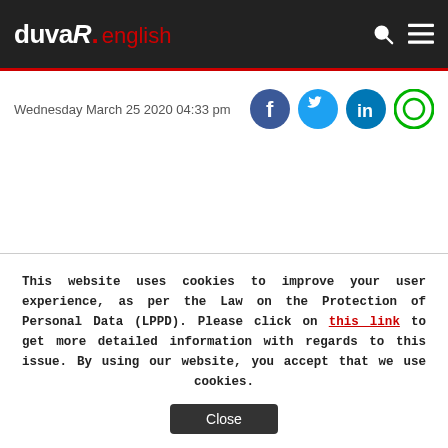duvaR. english
Wednesday March 25 2020 04:33 pm
This website uses cookies to improve your user experience, as per the Law on the Protection of Personal Data (LPPD). Please click on this link to get more detailed information with regards to this issue. By using our website, you accept that we use cookies.